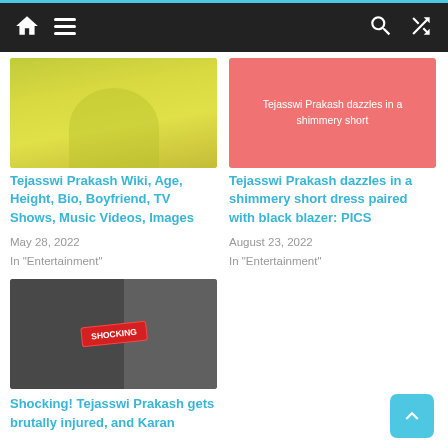Navigation bar with home, menu, search, shuffle icons
[Figure (photo): Woman in yellow outfit photo thumbnail]
Tejasswi Prakash Wiki, Age, Height, Bio, Boyfriend, TV Shows, Music Videos, Images
May 28, 2022
In "Entertainment"
[Figure (photo): Pink card with text: Tejasswi Prakash dazzles in a shimmery short]
Tejasswi Prakash dazzles in a shimmery short dress paired with black blazer: PICS
August 23, 2022
In "Entertainment"
[Figure (photo): Couple photo with SHOCKING badge overlay]
Shocking! Tejasswi Prakash gets brutally injured, and Karan